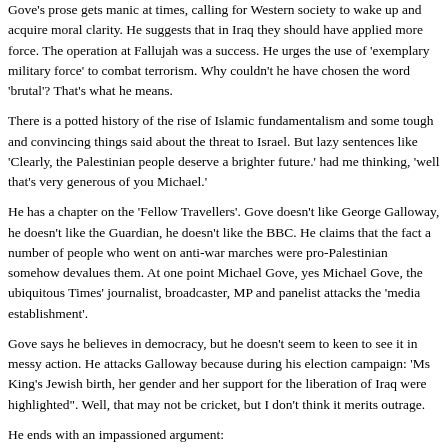Gove's prose gets manic at times, calling for Western society to wake up and acquire moral clarity. He suggests that in Iraq they should have applied more force. The operation at Fallujah was a success. He urges the use of 'exemplary military force' to combat terrorism. Why couldn't he have chosen the word 'brutal'? That's what he means.
There is a potted history of the rise of Islamic fundamentalism and some tough and convincing things said about the threat to Israel. But lazy sentences like 'Clearly, the Palestinian people deserve a brighter future.' had me thinking, 'well that's very generous of you Michael.'
He has a chapter on the 'Fellow Travellers'. Gove doesn't like George Galloway, he doesn't like the Guardian, he doesn't like the BBC. He claims that the fact a number of people who went on anti-war marches were pro-Palestinian somehow devalues them. At one point Michael Gove, yes Michael Gove, the ubiquitous Times' journalist, broadcaster, MP and panelist attacks the 'media establishment'.
Gove says he believes in democracy, but he doesn't seem to keen to see it in messy action. He attacks Galloway because during his election campaign: 'Ms King's Jewish birth, her gender and her support for the liberation of Iraq were highlighted". Well, that may not be cricket, but I don't think it merits outrage.
He ends with an impassioned argument:
"If we believe in the superiority of our way of life, if we believe, as